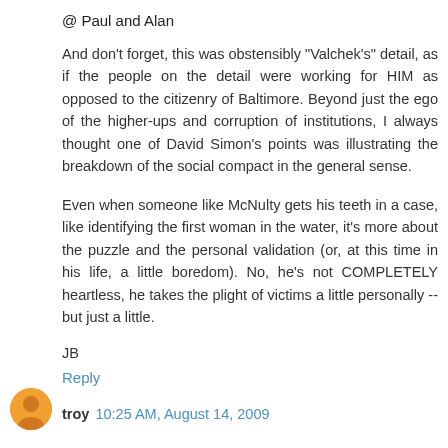@ Paul and Alan
And don't forget, this was obstensibly "Valchek's" detail, as if the people on the detail were working for HIM as opposed to the citizenry of Baltimore. Beyond just the ego of the higher-ups and corruption of institutions, I always thought one of David Simon's points was illustrating the breakdown of the social compact in the general sense.
Even when someone like McNulty gets his teeth in a case, like identifying the first woman in the water, it's more about the puzzle and the personal validation (or, at this time in his life, a little boredom). No, he's not COMPLETELY heartless, he takes the plight of victims a little personally -- but just a little.
JB
Reply
troy 10:25 AM, August 14, 2009